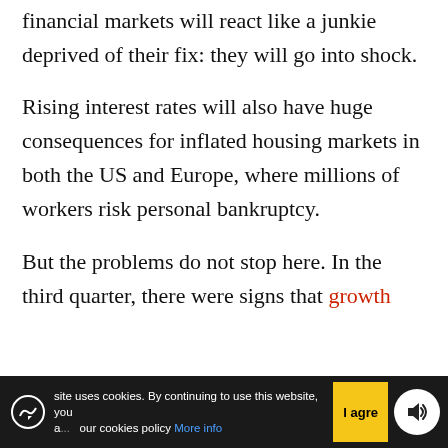financial markets will react like a junkie deprived of their fix: they will go into shock.
Rising interest rates will also have huge consequences for inflated housing markets in both the US and Europe, where millions of workers risk personal bankruptcy.
But the problems do not stop here. In the third quarter, there were signs that growth
site uses cookies. By continuing to use this website, you a... our cookies policy More info